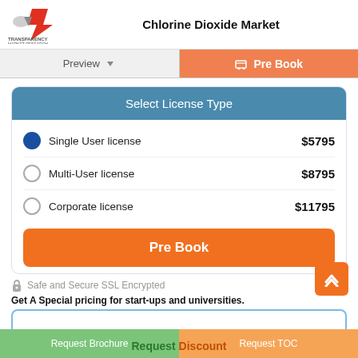Chlorine Dioxide Market
Preview | Pre Book
Select License Type
Single User license  $5795
Multi-User license  $8795
Corporate license  $11795
Pre Book
Safe and Secure SSL Encrypted
Get A Special pricing for start-ups and universities.
Request Discount
Request Brochure  Request TOC